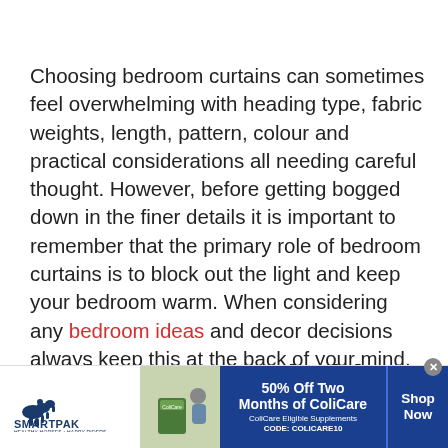Choosing bedroom curtains can sometimes feel overwhelming with heading type, fabric weights, length, pattern, colour and practical considerations all needing careful thought. However, before getting bogged down in the finer details it is important to remember that the primary role of bedroom curtains is to block out the light and keep your bedroom warm. When considering any bedroom ideas and decor decisions always keep this at the back of your mind.
Bedroom curtain ideas
[Figure (other): SmartPak advertisement banner: '50% Off Two Months of ColiCare - ColiCare Eligible Supplements - CODE: COLICARE10' with Shop Now button, showing a horse and rider image.]